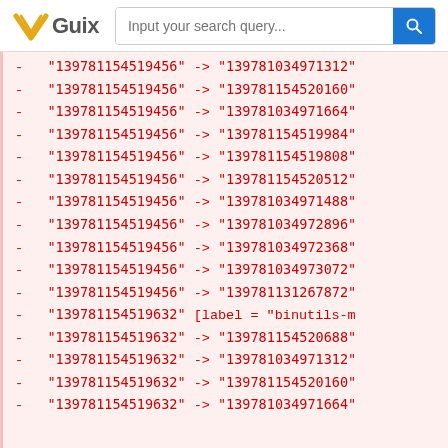Guix — Input your search query...
- "139781154519456" -> "139781034971312"
- "139781154519456" -> "139781154520160"
- "139781154519456" -> "139781034971664"
- "139781154519456" -> "139781154519984"
- "139781154519456" -> "139781154519808"
- "139781154519456" -> "139781154520512"
- "139781154519456" -> "139781034971488"
- "139781154519456" -> "139781034972896"
- "139781154519456" -> "139781034972368"
- "139781154519456" -> "139781034973072"
- "139781154519456" -> "139781131267872"
- "139781154519632" [label = "binutils-m
- "139781154519632" -> "139781154520688"
- "139781154519632" -> "139781034971312"
- "139781154519632" -> "139781154520160"
- "139781154519632" -> "139781034971664"